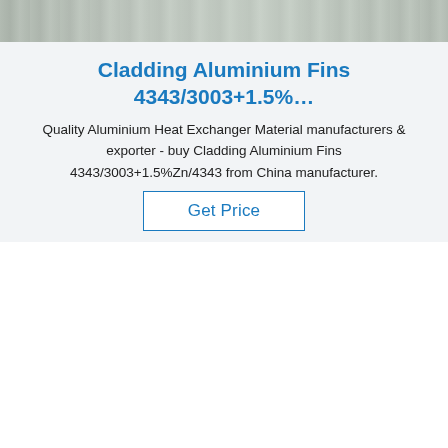[Figure (photo): Top strip photo showing aluminum material surface in grey/silver tones]
Cladding Aluminium Fins 4343/3003+1.5%…
Quality Aluminium Heat Exchanger Material manufacturers & exporter - buy Cladding Aluminium Fins 4343/3003+1.5%Zn/4343 from China manufacturer.
Get Price
[Figure (photo): Photo of aluminium roll with green inspection label card showing Chinese characters 检验 (inspection) and handwritten product details including lot number 1373528-1, alloy 6063/1000, dimensions 1.5x and other handwritten values. TOP logo visible in bottom right corner.]